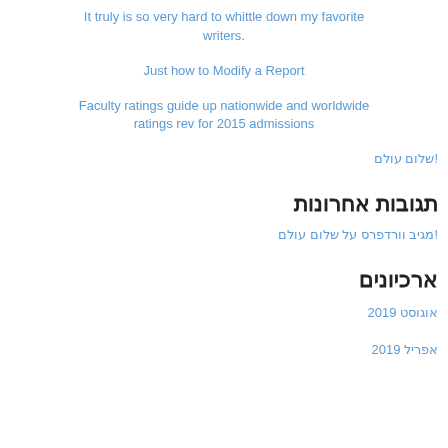It truly is so very hard to whittle down my favorite writers.
Just how to Modify a Report
Faculty ratings guide up nationwide and worldwide ratings rev for 2015 admissions
!שלום עולם
תגובות אחרונות
!מגיב וורדפרס על שלום עולם
ארכיונים
אוגוסט 2019
אפריל 2019